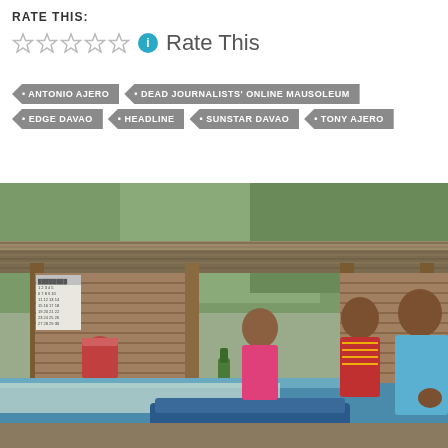RATE THIS:
Rate This
ANTONIO AJERO
DEAD JOURNALISTS' ONLINE MAUSOLEUM
EDGE DAVAO
HEADLINE
SUNSTAR DAVAO
TONY AJERO
[Figure (photo): Three people sitting under a nipa hut or open-sided wooden structure with a corrugated metal roof. A table with a blue cover and white tablecloth is in the foreground. A woman in pink, an older man in red patterned clothing, and a person in a light blue polo shirt are seated. Green trees visible in the background. A calendar and items on the wall to the left.]